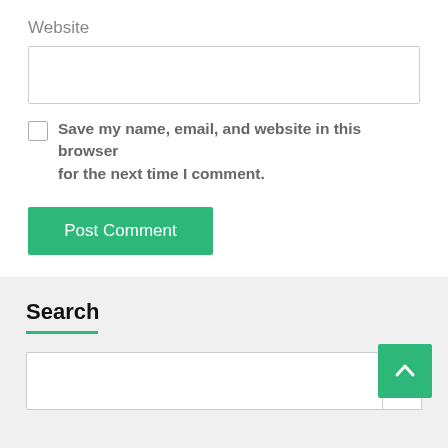Website
[Figure (screenshot): Empty text input field for Website URL]
[Figure (screenshot): Unchecked checkbox]
Save my name, email, and website in this browser for the next time I comment.
Post Comment
Search
[Figure (screenshot): Search input field with Se... button and green scroll-to-top arrow button]